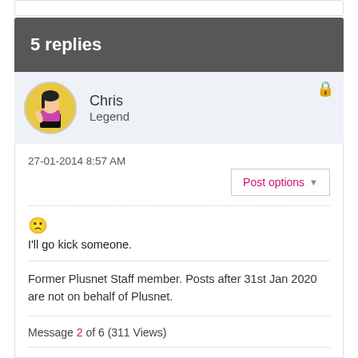5 replies
Chris
Legend
27-01-2014 8:57 AM
Post options
😞
I'll go kick someone.
Former Plusnet Staff member. Posts after 31st Jan 2020 are not on behalf of Plusnet.
Message 2 of 6 (311 Views)